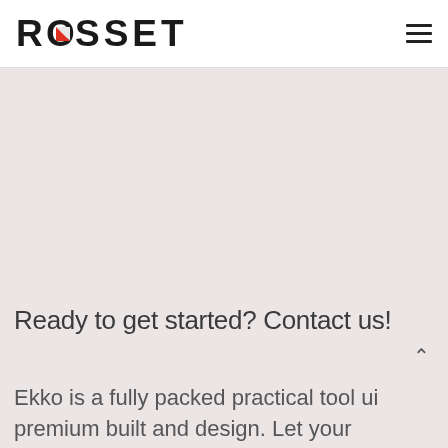[Figure (logo): ROSSETTI logo with a red and white geometric triangle/arrow shape replacing the letter O]
[Figure (illustration): Hamburger menu icon (three horizontal lines) in top right corner]
[Figure (illustration): Large light pinkish-beige empty background area below header]
Ready to get started? Contact us!
Ekko is a fully packed practical tool of premium built and design. Let your